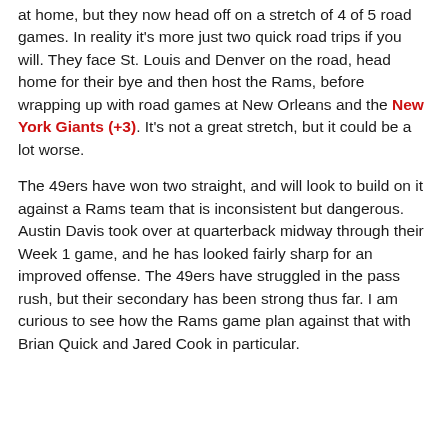at home, but they now head off on a stretch of 4 of 5 road games. In reality it's more just two quick road trips if you will. They face St. Louis and Denver on the road, head home for their bye and then host the Rams, before wrapping up with road games at New Orleans and the New York Giants (+3). It's not a great stretch, but it could be a lot worse.
The 49ers have won two straight, and will look to build on it against a Rams team that is inconsistent but dangerous. Austin Davis took over at quarterback midway through their Week 1 game, and he has looked fairly sharp for an improved offense. The 49ers have struggled in the pass rush, but their secondary has been strong thus far. I am curious to see how the Rams game plan against that with Brian Quick and Jared Cook in particular.